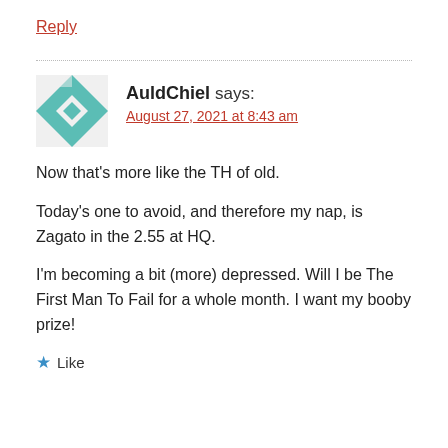Reply
AuldChiel says:
August 27, 2021 at 8:43 am
Now that’s more like the TH of old.
Today’s one to avoid, and therefore my nap, is Zagato in the 2.55 at HQ.
I’m becoming a bit (more) depressed. Will I be The First Man To Fail for a whole month. I want my booby prize!
★ Like